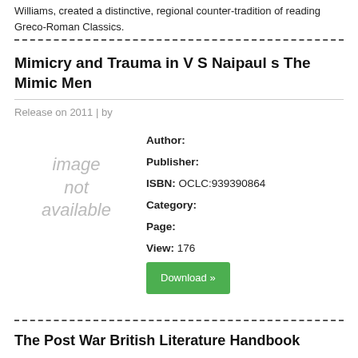Williams, created a distinctive, regional counter-tradition of reading Greco-Roman Classics.
Mimicry and Trauma in V S Naipaul s The Mimic Men
Release on 2011 | by
[Figure (illustration): Image not available placeholder]
| Author: |  |
| Publisher: |  |
| ISBN: | OCLC:939390864 |
| Category: |  |
| Page: |  |
| View: | 176 |
Download »
The Post War British Literature Handbook